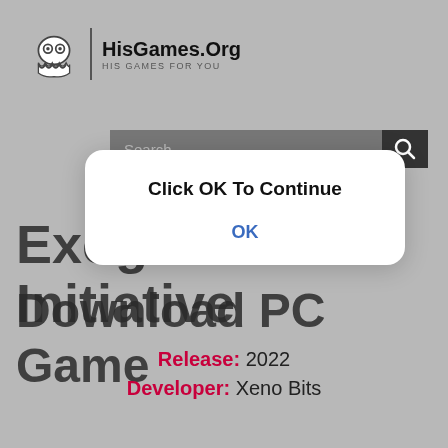[Figure (logo): HisGames.Org ghost logo with site name and tagline HIS GAMES FOR YOU]
[Figure (screenshot): Website search bar with dark background and magnifying glass icon]
Exogate Initiative Download PC Game
[Figure (infographic): Modal dialog box with text 'Click OK To Continue' and an OK button]
Release: 2022
Developer: Xeno Bits